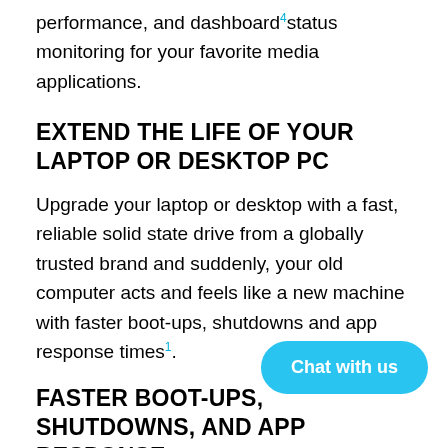performance, and dashboard⁴status monitoring for your favorite media applications.
EXTEND THE LIFE OF YOUR LAPTOP OR DESKTOP PC
Upgrade your laptop or desktop with a fast, reliable solid state drive from a globally trusted brand and suddenly, your old computer acts and feels like a new machine with faster boot-ups, shutdowns and app response times¹.
FASTER BOOT-UPS, SHUTDOWNS, AND APP RESPONSE
High sequential read speeds of up to... sequential write speeds of up to 450MB/s... translate into better performance for everything you do...